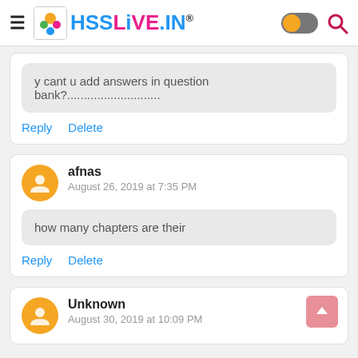HSSLiVE.IN
y cant u add answers in question bank?............................
Reply   Delete
afnas
August 26, 2019 at 7:35 PM
how many chapters are their
Reply   Delete
Unknown
August 30, 2019 at 10:09 PM